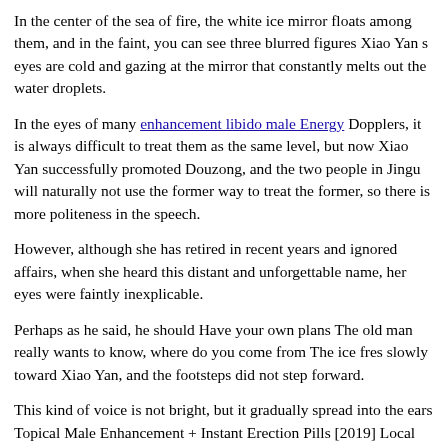In the center of the sea of fire, the white ice mirror floats among them, and in the faint, you can see three blurred figures Xiao Yan s eyes are cold and gazing at the mirror that constantly melts out the water droplets.
In the eyes of many enhancement libido male Energy Dopplers, it is always difficult to treat them as the same level, but now Xiao Yan successfully promoted Douzong, and the two people in Jingu will naturally not use the former way to treat the former, so there is more politeness in the speech.
However, although she has retired in recent years and ignored affairs, when she heard this distant and unforgettable name, her eyes were faintly inexplicable.
Perhaps as he said, he should Have your own plans The old man really wants to know, where do you come from The ice fres slowly toward Xiao Yan, and the footsteps did not step forward.
This kind of voice is not bright, but it gradually spread into the ears Topical Male Enhancement + Instant Erection Pills [2019] Local Sex Stores of everyone present, so the silence is silent, countless gaze is with a trace of shocking look at the three colors of the sea, this Fighting seems to be to win the game at this moment In the midair under the sea of fire, Xiao Yan stood in the air.